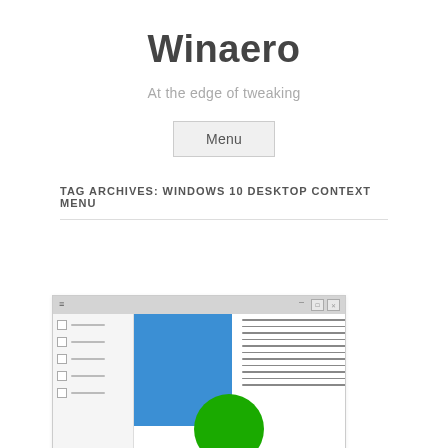Winaero
At the edge of tweaking
Menu
TAG ARCHIVES: WINDOWS 10 DESKTOP CONTEXT MENU
[Figure (screenshot): Screenshot of a Windows application window with a sidebar showing checkboxes, a blue rectangle, green circle, and text lines in the main content area]